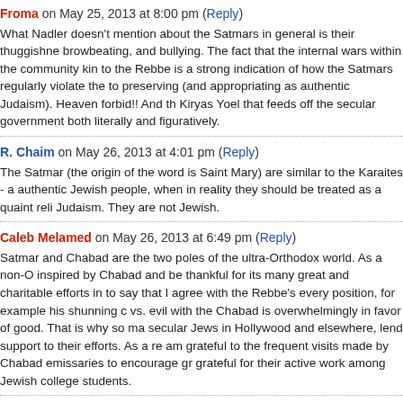Froma on May 25, 2013 at 8:00 pm (Reply)
What Nadler doesn't mention about the Satmars in general is their thuggishne browbeating, and bullying. The fact that the internal wars within the community kin to the Rebbe is a strong indication of how the Satmars regularly violate the to preserving (and appropriating as authentic Judaism). Heaven forbid!! And th Kiryas Yoel that feeds off the secular government both literally and figuratively.
R. Chaim on May 26, 2013 at 4:01 pm (Reply)
The Satmar (the origin of the word is Saint Mary) are similar to the Karaites - a authentic Jewish people, when in reality they should be treated as a quaint reli Judaism. They are not Jewish.
Caleb Melamed on May 26, 2013 at 6:49 pm (Reply)
Satmar and Chabad are the two poles of the ultra-Orthodox world. As a non-O inspired by Chabad and be thankful for its many great and charitable efforts in to say that I agree with the Rebbe's every position, for example his shunning c vs. evil with the Chabad is overwhelmingly in favor of good. That is why so ma secular Jews in Hollywood and elsewhere, lend support to their efforts. As a re am grateful to the frequent visits made by Chabad emissaries to encourage gr grateful for their active work among Jewish college students.
Not so with the Satmar, a bigoted, Medieval and, I dare say, fundamentally ant Teitelbaum and his followers say that the Zionists are worse than Nazis!...